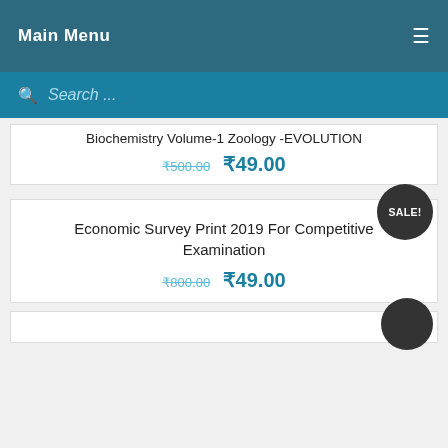Main Menu
Search ...
Biochemistry Volume-1 Zoology -EVOLUTION ₹500.00 ₹49.00
Economic Survey Print 2019 For Competitive Examination ₹800.00 ₹49.00